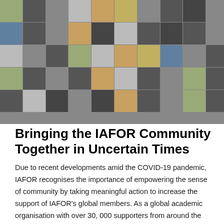[Figure (photo): A large collage of photographs showing diverse groups of people at IAFOR academic conferences and events, including speakers, audiences, networking sessions, and group photos from various international academic gatherings.]
Bringing the IAFOR Community Together in Uncertain Times
Due to recent developments amid the COVID-19 pandemic, IAFOR recognises the importance of empowering the sense of community by taking meaningful action to increase the support of IAFOR's global members. As a global academic organisation with over 30, 000 supporters from around the world, IAFOR is committed to conducting inclusive and inspiring academic exchanges.